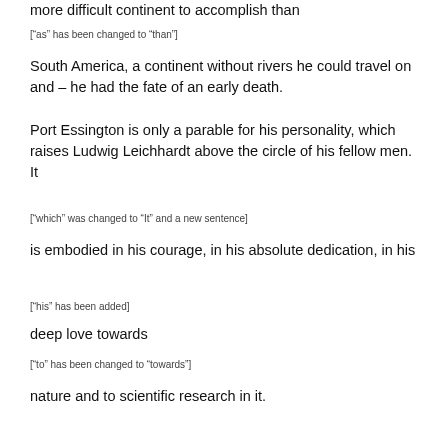more difficult continent to accomplish than
["as" has been changed to "than"]
South America, a continent without rivers he could travel on and – he had the fate of an early death.
Port Essington is only a parable for his personality, which raises Ludwig Leichhardt above the circle of his fellow men. It
["which" was changed to "It" and a new sentence]
is embodied in his courage, in his absolute dedication, in his
["his" has been added]
deep love towards
["to" has been changed to "towards"]
nature and to scientific research in it.